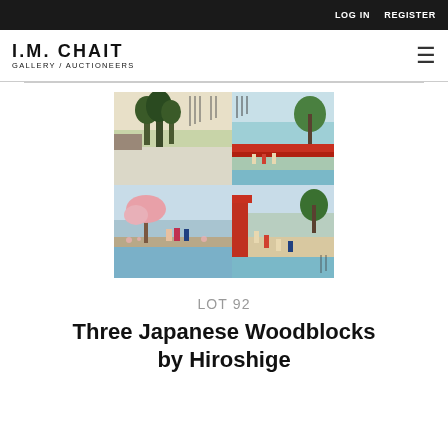LOG IN   REGISTER
[Figure (logo): I.M. Chait Gallery / Auctioneers logo in black text]
[Figure (photo): Three Japanese Woodblocks by Hiroshige — collage of three woodblock prints showing landscapes and figures in traditional Japanese style]
LOT 92
Three Japanese Woodblocks by Hiroshige